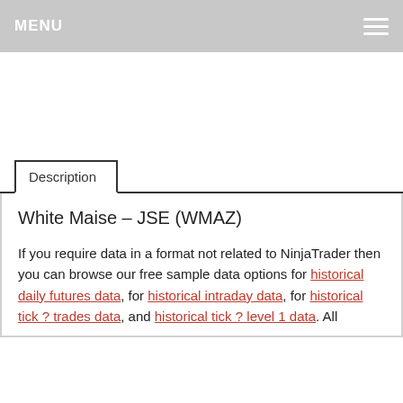MENU
Description
White Maise – JSE (WMAZ)
If you require data in a format not related to NinjaTrader then you can browse our free sample data options for historical daily futures data, for historical intraday data, for historical tick ? trades data, and historical tick ? level 1 data. All sample data regardless of exchange location is